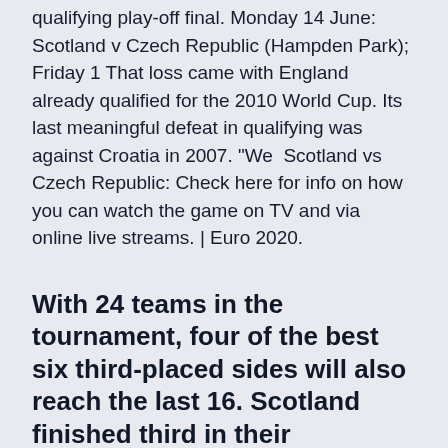qualifying play-off final. Monday 14 June: Scotland v Czech Republic (Hampden Park); Friday 1 That loss came with England already qualified for the 2010 World Cup. Its last meaningful defeat in qualifying was against Croatia in 2007. "We  Scotland vs Czech Republic: Check here for info on how you can watch the game on TV and via online live streams. | Euro 2020.
With 24 teams in the tournament, four of the best six third-placed sides will also reach the last 16. Scotland finished third in their qualifying group,
England have become an extremely consistent team